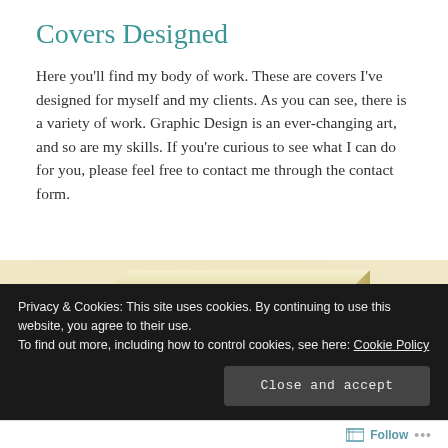Covers Designed
Here you'll find my body of work. These are covers I've designed for myself and my clients. As you can see, there is a variety of work. Graphic Design is an ever-changing art, and so are my skills. If you're curious to see what I can do for you, please feel free to contact me through the contact form.
[Figure (photo): A book box / boxed set with a warm cream/gold background featuring a silhouette of a figure, partially visible at the bottom of the page.]
Privacy & Cookies: This site uses cookies. By continuing to use this website, you agree to their use.
To find out more, including how to control cookies, see here: Cookie Policy
Close and accept
Follow